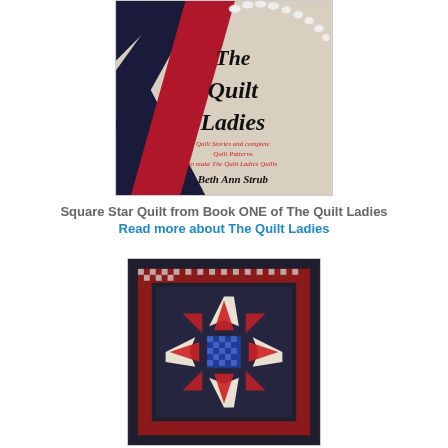[Figure (photo): Book cover of 'The Quilt Ladies' by Beth Ann Strub, showing quilt fabric and pearls in background with black script title text and red subtitle text reading 'Quilt Stories and complete Quilt Patterns to make The Quilt Ladies Quilts']
Square Star Quilt from Book ONE of The Quilt Ladies
Read more about The Quilt Ladies
[Figure (photo): Square Star Quilt pattern photo showing a dark navy blue quilt with a red, cream, and blue star pattern in the center, surrounded by a red checkered border and dark outer border]